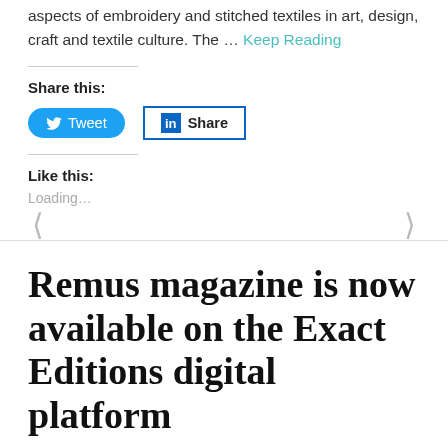aspects of embroidery and stitched textiles in art, design, craft and textile culture. The … Keep Reading
Share this:
[Figure (screenshot): Tweet button (blue rounded) and LinkedIn Share button (white with blue border)]
Like this:
Loading...
Remus magazine is now available on the Exact Editions digital platform